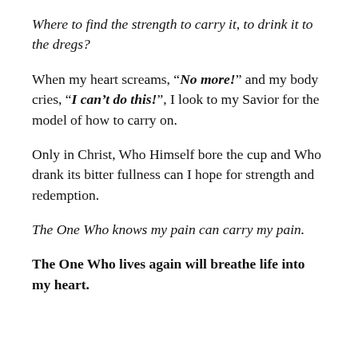Where to find the strength to carry it, to drink it to the dregs?
When my heart screams, “No more!” and my body cries, “I can’t do this!”, I look to my Savior for the model of how to carry on.
Only in Christ, Who Himself bore the cup and Who drank its bitter fullness can I hope for strength and redemption.
The One Who knows my pain can carry my pain.
The One Who lives again will breathe life into my heart.